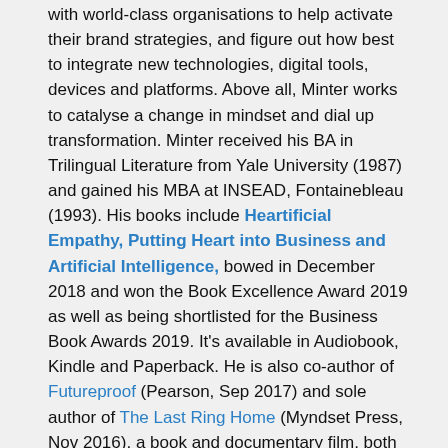with world-class organisations to help activate their brand strategies, and figure out how best to integrate new technologies, digital tools, devices and platforms. Above all, Minter works to catalyse a change in mindset and dial up transformation. Minter received his BA in Trilingual Literature from Yale University (1987) and gained his MBA at INSEAD, Fontainebleau (1993). His books include Heartificial Empathy, Putting Heart into Business and Artificial Intelligence, bowed in December 2018 and won the Book Excellence Award 2019 as well as being shortlisted for the Business Book Awards 2019. It's available in Audiobook, Kindle and Paperback. He is also co-author of Futureproof (Pearson, Sep 2017) and sole author of The Last Ring Home (Myndset Press, Nov 2016), a book and documentary film, both of which have won awards and critical acclaim. Minter's latest book, You Lead, How being yourself makes you a better leader, published by Kogan Page, won the Business Book Award 2022 in the category of Leadership. It's easy